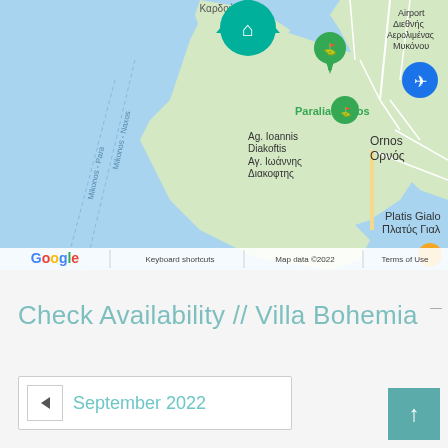[Figure (map): Google Maps screenshot showing Mykonos island area, Greece. Visible labels include: Καρδούρας (top), Paralia Korfos with green pin, Ag. Ioannis Diakoftis / Αγ. Ιωάννης Διακοφτης, Ornos / Ορνός, Airport / Διεθνής Αερολιμένας Μυκόνου with plane icon, Platis Gialo / Πλατύς Γιαλ (bottom right). Blue sea area with Mykonos - Naxos and Mykonos - Para ferry lines. Teal house pin marker for listing. Orange marker bottom right. Google logo and map attribution bar at bottom.]
Check Availability // Villa Bohemia
September 2022